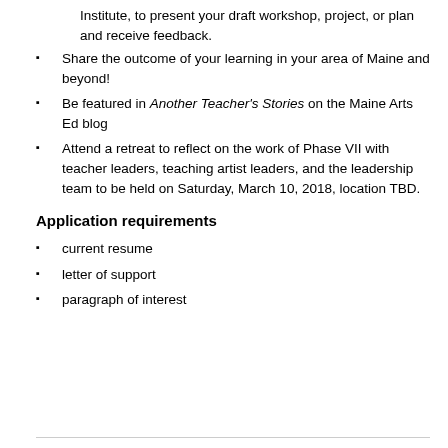Institute, to present your draft workshop, project, or plan and receive feedback.
Share the outcome of your learning in your area of Maine and beyond!
Be featured in Another Teacher's Stories on the Maine Arts Ed blog
Attend a retreat to reflect on the work of Phase VII with teacher leaders, teaching artist leaders, and the leadership team to be held on Saturday, March 10, 2018, location TBD.
Application requirements
current resume
letter of support
paragraph of interest